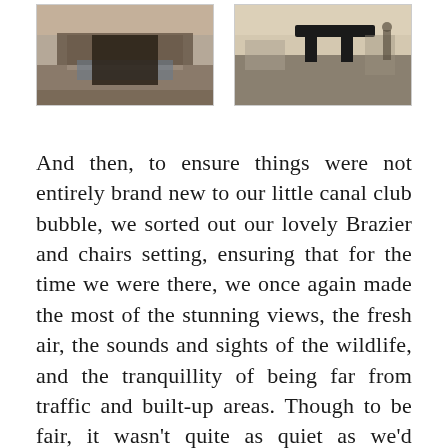[Figure (photo): Left photo: outdoor canal or waterway scene with brick walls and a dark trench or channel]
[Figure (photo): Right photo: outdoor scene showing canal or waterway with some equipment or bench-like structure visible]
And then, to ensure things were not entirely brand new to our little canal club bubble, we sorted out our lovely Brazier and chairs setting, ensuring that for the time we were there, we once again made the most of the stunning views, the fresh air, the sounds and sights of the wildlife, and the tranquillity of being far from traffic and built-up areas. Though to be fair, it wasn't quite as quiet as we'd hoped! (Lots of people passing by, seemingly totally unaware that people actually lived on the boats there were